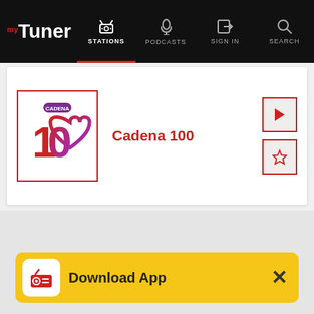myTuner — STATIONS | PODCASTS | SIGN IN | SEARCH
[Figure (logo): Cadena 100 radio station logo: large stylized red '100' with purple heart swirl and 'CADENA' text above]
Cadena 100
[Figure (illustration): Download App banner with radio icon, text 'Download App' and close X button on yellow background]